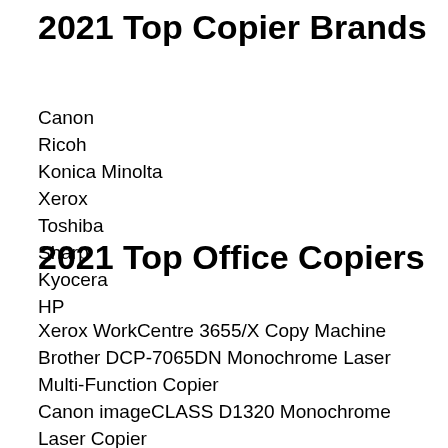2021 Top Copier Brands
Canon
Ricoh
Konica Minolta
Xerox
Toshiba
Sharp
Kyocera
HP
2021 Top Office Copiers
Xerox WorkCentre 3655/X Copy Machine
Brother DCP-7065DN Monochrome Laser Multi-Function Copier
Canon imageCLASS D1320 Monochrome Laser Copier
Canon imageCLASS MF4890dw Laser Copier